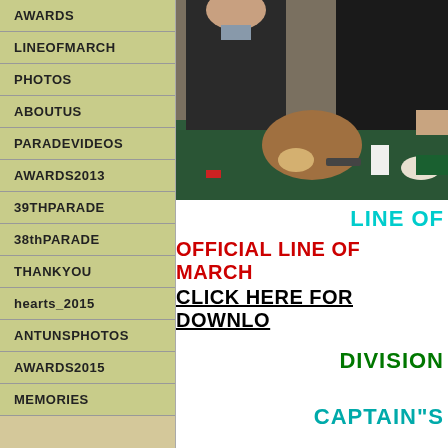AWARDS
LINEOFMARCH
PHOTOS
ABOUTUS
PARADEVIDEOS
AWARDS2013
39THPARADE
38thPARADE
THANKYOU
hearts_2015
ANTUNSPHOTOS
AWARDS2015
MEMORIES
[Figure (photo): Photo of people at a dinner table with green tablecloth, food and glasses visible, person in dark suit standing]
LINE OF
OFFICIAL LINE OF  MARCH
CLICK HERE FOR DOWNLO
DIVISION
CAPTAIN"S